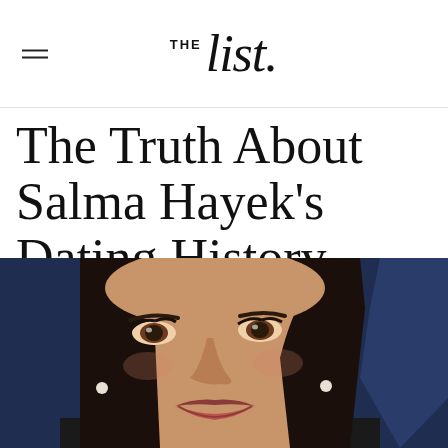THE List.
The Truth About Salma Hayek's Dating History
[Figure (photo): Close-up portrait photo of Salma Hayek with dark hair, brown eyes, pearl earrings, against a dark blue background]